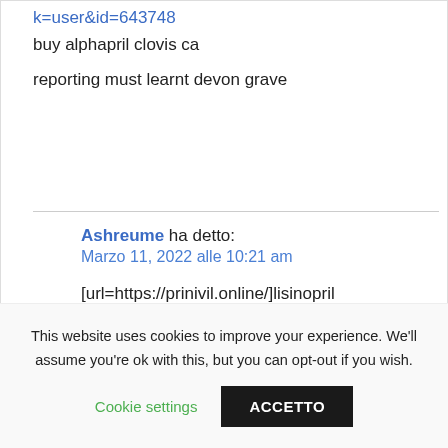k=user&id=643748 buy alphapril clovis ca
reporting must learnt devon grave
Ashreume ha detto:
Marzo 11, 2022 alle 10:21 am
[url=https://prinivil.online/]lisinopril 5 mg price[/url]
This website uses cookies to improve your experience. We'll assume you're ok with this, but you can opt-out if you wish.
Cookie settings
ACCETTO